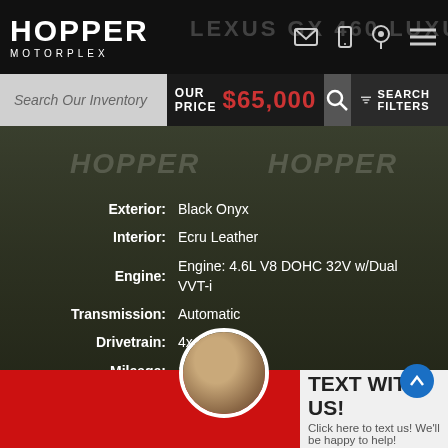HOPPER MOTORPLEX — LEXUS GX 460 LUXURY
Search Our Inventory
OUR PRICE $65,000
| Label | Value |
| --- | --- |
| Exterior: | Black Onyx |
| Interior: | Ecru Leather |
| Engine: | Engine: 4.6L V8 DOHC 32V w/Dual VVT-i |
| Transmission: | Automatic |
| Drivetrain: | 4x4 |
| Mileage: | 13,407 |
| City / Hwy: | 15 / 19 |
| VIN: | JTJGM7BX2M5301249 |
| Stock: | 301249Z |
TEXT WITH US! Click here to text us! We'll be happy to help!